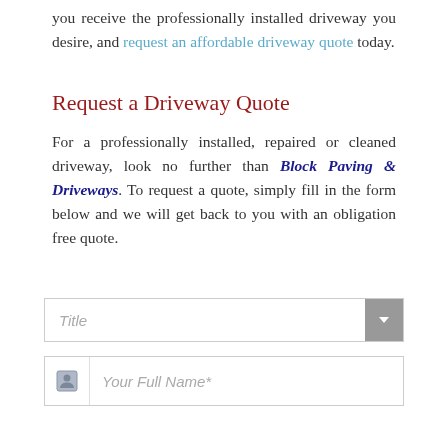you receive the professionally installed driveway you desire, and request an affordable driveway quote today.
Request a Driveway Quote
For a professionally installed, repaired or cleaned driveway, look no further than Block Paving & Driveways. To request a quote, simply fill in the form below and we will get back to you with an obligation free quote.
[Figure (other): Form field: Title dropdown selector with grey arrow button]
[Figure (other): Form field: Your Full Name* text input with person icon]